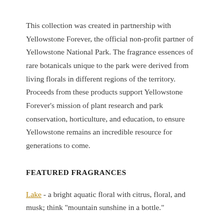This collection was created in partnership with Yellowstone Forever, the official non-profit partner of Yellowstone National Park. The fragrance essences of rare botanicals unique to the park were derived from living florals in different regions of the territory. Proceeds from these products support Yellowstone Forever's mission of plant research and park conservation, horticulture, and education, to ensure Yellowstone remains an incredible resource for generations to come.
FEATURED FRAGRANCES
Lake - a bright aquatic floral with citrus, floral, and musk; think "mountain sunshine in a bottle."
Old Faithful - fresh botanicals and strong notes of pine